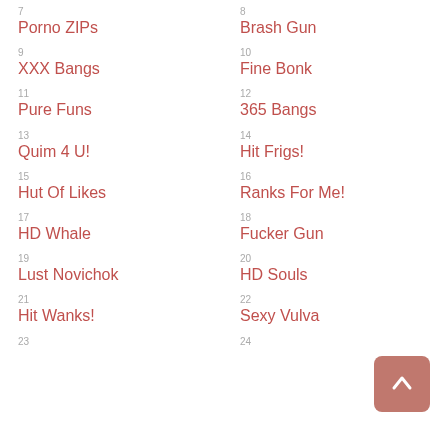7
Porno ZIPs
8
Brash Gun
9
XXX Bangs
10
Fine Bonk
11
Pure Funs
12
365 Bangs
13
Quim 4 U!
14
Hit Frigs!
15
Hut Of Likes
16
Ranks For Me!
17
HD Whale
18
Fucker Gun
19
Lust Novichok
20
HD Souls
21
Hit Wanks!
22
Sexy Vulva
23
24